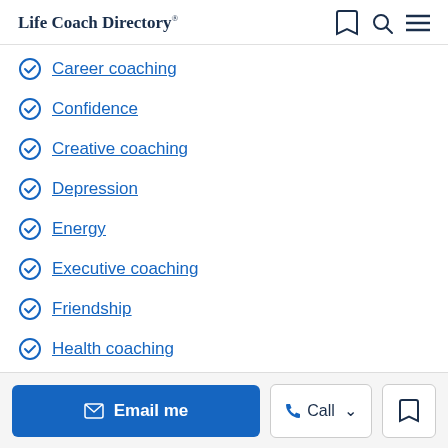Life Coach Directory
Career coaching
Confidence
Creative coaching
Depression
Energy
Executive coaching
Friendship
Health coaching
Hobbies
Email me | Call | Bookmark